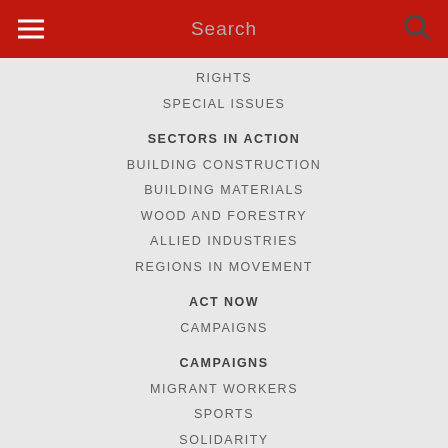Search
RIGHTS
SPECIAL ISSUES
SECTORS IN ACTION
BUILDING CONSTRUCTION
BUILDING MATERIALS
WOOD AND FORESTRY
ALLIED INDUSTRIES
REGIONS IN MOVEMENT
ACT NOW
CAMPAIGNS
CAMPAIGNS
MIGRANT WORKERS
SPORTS
SOLIDARITY
MULTINATIONALS
GET INFORMED
NEWS
EVENTS